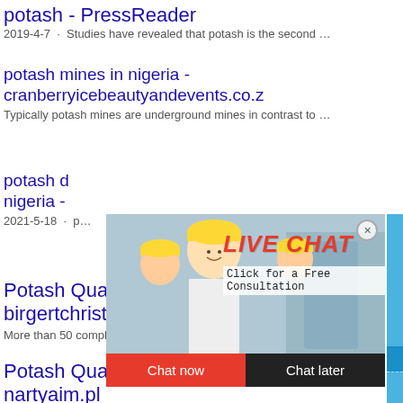potash - PressReader
2019-4-7 · Studies have revealed that potash is the second …
potash mines in nigeria - cranberryicebeautyandevents.co.z
Typically potash mines are underground mines in contrast to …
potash d nigeria -
2021-5-18 · p …
[Figure (screenshot): Live chat popup with photo of workers in hard hats, LIVE CHAT heading in red italic, 'Click for a Free Consultation' subtext, Chat now (red) and Chat later (dark) buttons]
[Figure (screenshot): Right panel with blue background showing industrial machine/crusher, 'hour online' text, 'Click me to chat>>' blue button, 'Enquiry' and 'limingjlmofen' sections]
Potash Quarry In Niger birgertchristine.fr
More than 50 complexes occur in Nigeria w …
Potash Quarry In Niger nartyaim.pl